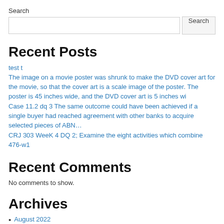Search
[search input] [Search button]
Recent Posts
test t
The image on a movie poster was shrunk to make the DVD cover art for the movie, so that the cover art is a scale image of the poster. The poster is 45 inches wide, and the DVD cover art is 5 inches wi
Case 11.2 dq 3 The same outcome could have been achieved if a single buyer had reached agreement with other banks to acquire selected pieces of ABN…
CRJ 303 WeeK 4 DQ 2; Examine the eight activities which combine
476-w1
Recent Comments
No comments to show.
Archives
August 2022